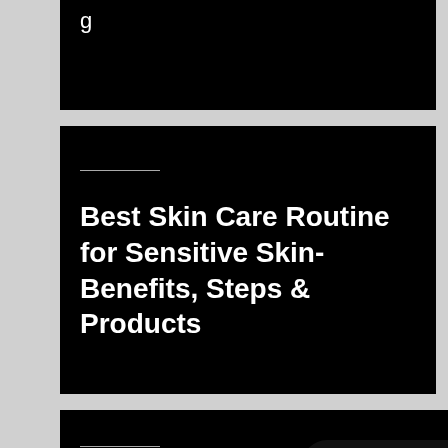[Figure (photo): Partially visible black card with text starting with 'g' — cropped article card at top of page]
Best Skin Care Routine for Sensitive Skin- Benefits, Steps & Products
Pimple & Pimples Mark on Face: Causes, Treatment &